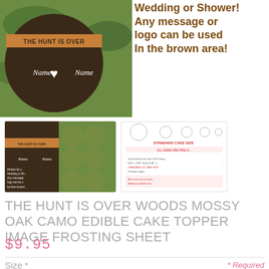[Figure (photo): Main product image showing a round camo cake topper with 'THE HUNT IS OVER' banner and 'Name Name' text on dark wood background, alongside text overlay]
Wedding or Shower! Any message or logo can be used In the brown area!
[Figure (photo): Two thumbnail images of the product - one showing the cake topper design collage and one showing size chart]
THE HUNT IS OVER WOODS MOSSY OAK CAMO EDIBLE CAKE TOPPER IMAGE FROSTING SHEET
$9.95
Size *
* Required